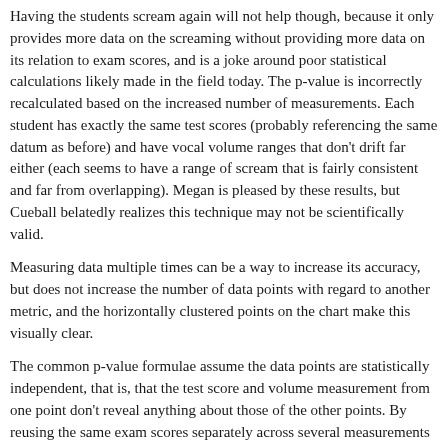Having the students scream again will not help though, because it only provides more data on the screaming without providing more data on its relation to exam scores, and is a joke around poor statistical calculations likely made in the field today. The p-value is incorrectly recalculated based on the increased number of measurements. Each student has exactly the same test scores (probably referencing the same datum as before) and have vocal volume ranges that don't drift far either (each seems to have a range of scream that is fairly consistent and far from overlapping). Megan is pleased by these results, but Cueball belatedly realizes this technique may not be scientifically valid.
Measuring data multiple times can be a way to increase its accuracy, but does not increase the number of data points with regard to another metric, and the horizontally clustered points on the chart make this visually clear.
The common p-value formulae assume the data points are statistically independent, that is, that the test score and volume measurement from one point don't reveal anything about those of the other points. By reusing the same exam scores separately across several measurements each, Cueball and Megan violate the independence assumption and invalidate their significance calculation. This is an example of pseudoreplication.